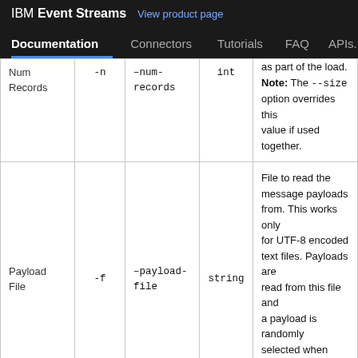IBM Event Streams  View product page
Documentation  Connectors  Tutorials  FAQ  APIs...
| Name | Short | Long | Type | Description |
| --- | --- | --- | --- | --- |
| Num Records | -n | --num-records | int | as part of the load. Note: The --size option overrides this value if used together. |
| Payload File | -f | --payload-file | string | File to read the message payloads from. This works only for UTF-8 encoded text files. Payloads are read from this file and a payload is randomly selected when sending messages. |
| Payload Delimiter | -d | --payload-delimiter | string | Provides delimiter to be used when --payload-file is provided. This parameter is ignored if --payload-file is not provided. |
|  |  |  |  | Throttle maximum |